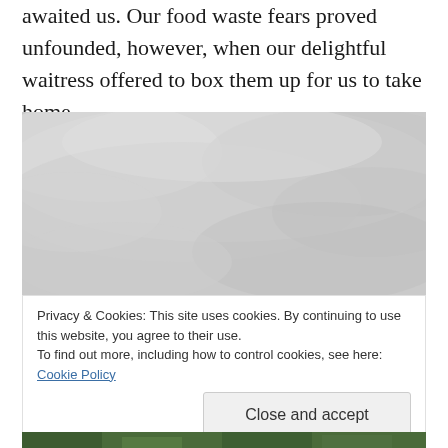awaited us. Our food waste fears proved unfounded, however, when our delightful waitress offered to box them up for us to take home.
[Figure (photo): Overcast grey cloudy sky photograph]
Privacy & Cookies: This site uses cookies. By continuing to use this website, you agree to their use.
To find out more, including how to control cookies, see here: Cookie Policy
[Close and accept button]
[Figure (photo): Bottom portion of another outdoor photo, partially visible]